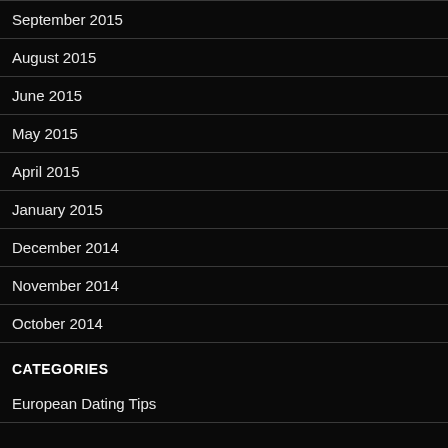September 2015
August 2015
June 2015
May 2015
April 2015
January 2015
December 2014
November 2014
October 2014
CATEGORIES
European Dating Tips